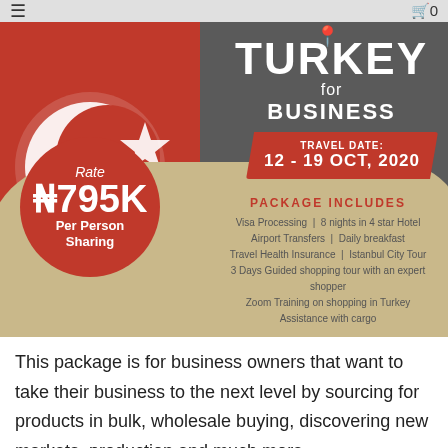≡  🛒 0
[Figure (infographic): Turkey for Business travel package infographic. Features Turkish flag on the left, dark grey background on upper right with 'TURKEY for BUSINESS' title and a location pin icon. Red banner with 'TRAVEL DATE: 12 - 19 OCT, 2020'. Red circle badge with 'Rate ₦795K Per Person Sharing'. Tan/beige lower section with 'PACKAGE INCLUDES' listing: Visa Processing | 8 nights in 4 star Hotel, Airport Transfers | Daily breakfast, Travel Health Insurance | Istanbul City Tour, 3 Days Guided shopping tour with an expert shopper, Zoom Training on shopping in Turkey, Assistance with cargo.]
This package is for business owners that want to take their business to the next level by sourcing for products in bulk, wholesale buying, discovering new markets, production and much more.